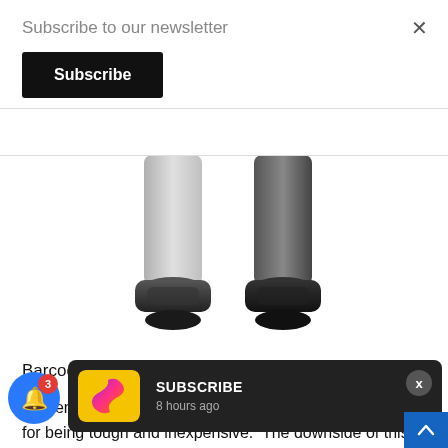Subscribe to our newsletter
Subscribe
[Figure (photo): Bottom portions of two barcode scanner devices — one light gray and one dark gray/black — showing the tips/bases of the scanners]
Barcode scanners come in five different kinds.
1. Pen Wands are the most basic kind. They are known for being tough and inexpensive. The downside of this scanner is th[at they require] instant con[tact...] a Wand only works if it is used at a very specific ang[le] and has to be moved over the barcode at a particular [speed]
[Figure (screenshot): Subscribe push notification toast with colorful S logo icon, reading 'SUBSCRIBE' and '8 hours ago']
[Figure (other): Blue circular push notification bell button with red badge showing '3']